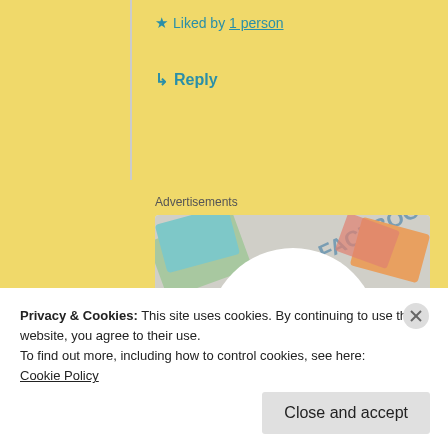★ Liked by 1 person
↳ Reply
Advertisements
[Figure (screenshot): WordPress VIP advertisement showing 'We're the WordPress CMS for Very Important Content' with a Learn more button, surrounded by colorful brand document mockups including Meta, Facebook, Capgemini logos]
Privacy & Cookies: This site uses cookies. By continuing to use this website, you agree to their use.
To find out more, including how to control cookies, see here:
Cookie Policy
Close and accept